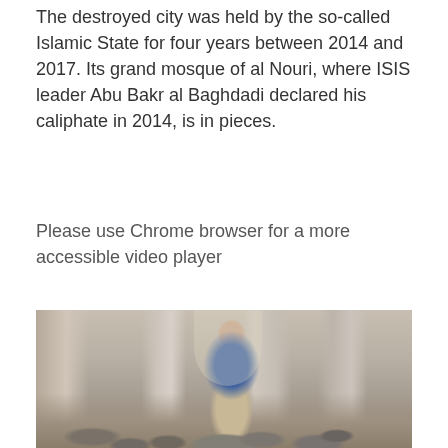The destroyed city was held by the so-called Islamic State for four years between 2014 and 2017. Its grand mosque of al Nouri, where ISIS leader Abu Bakr al Baghdadi declared his caliphate in 2014, is in pieces.
Please use Chrome browser for a more accessible video player
[Figure (photo): A man in a blue shirt and khaki trousers stands among rubble and debris inside a destroyed building with large columns. The scene shows significant destruction with broken stones and concrete scattered across the floor.]